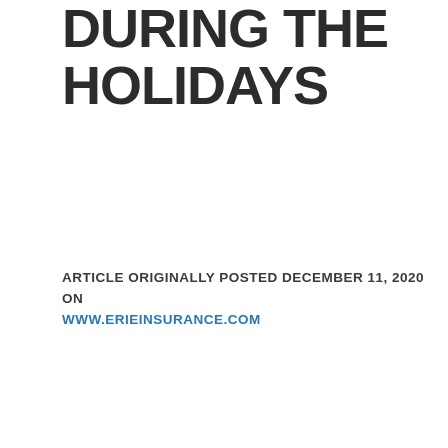DURING THE HOLIDAYS
ARTICLE ORIGINALLY POSTED DECEMBER 11, 2020 ON WWW.ERIEINSURANCE.COM
There's almost nothing more convenient than